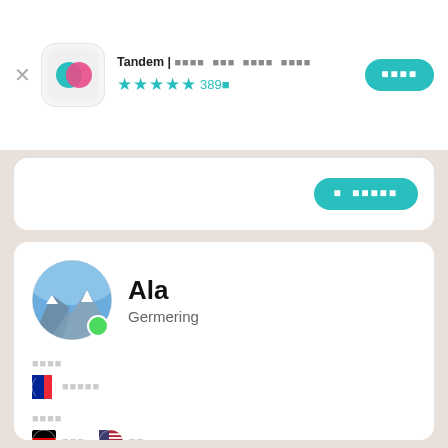Tandem | 언어 교환 파트너 찾기
★★★★☆ 389만
앱 설치하기
이 앱열기
Ala
Germering
할수있는
🇫🇷 프랑스어
배우고싶은
🇩🇪 독일어   🇺🇸 영어
나에대해서 소개 하기